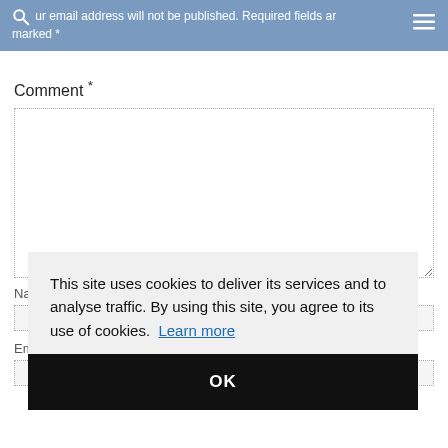Your email address will not be published. Required fields are marked *
Comment *
Name *
Email *
This site uses cookies to deliver its services and to analyse traffic. By using this site, you agree to its use of cookies. Learn more
OK